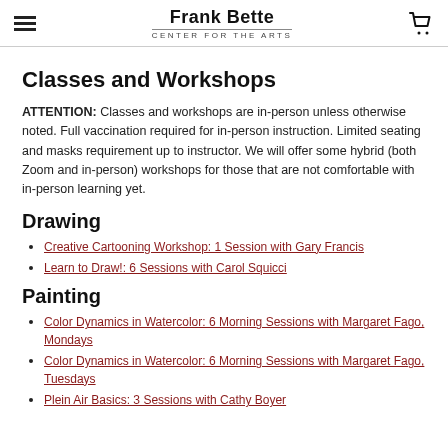Frank Bette CENTER FOR THE ARTS
Classes and Workshops
ATTENTION: Classes and workshops are in-person unless otherwise noted. Full vaccination required for in-person instruction. Limited seating and masks requirement up to instructor. We will offer some hybrid (both Zoom and in-person) workshops for those that are not comfortable with in-person learning yet.
Drawing
Creative Cartooning Workshop: 1 Session with Gary Francis
Learn to Draw!: 6 Sessions with Carol Squicci
Painting
Color Dynamics in Watercolor: 6 Morning Sessions with Margaret Fago, Mondays
Color Dynamics in Watercolor: 6 Morning Sessions with Margaret Fago, Tuesdays
Plein Air Basics: 3 Sessions with Cathy Boyer